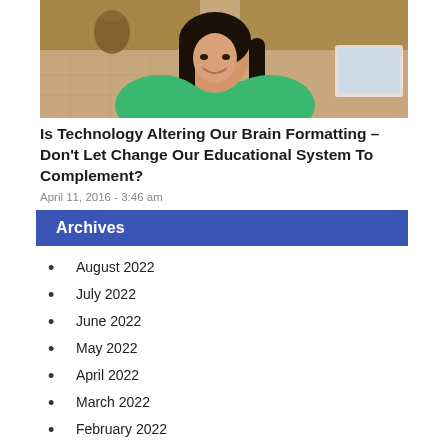[Figure (photo): A smiling young woman with long dark hair wearing a green top, sitting in a kitchen with wooden cabinets and tile backsplash, with a laptop nearby.]
Is Technology Altering Our Brain Formatting – Don't Let Change Our Educational System To Complement?
April 11, 2016 - 3:46 am
Archives
August 2022
July 2022
June 2022
May 2022
April 2022
March 2022
February 2022